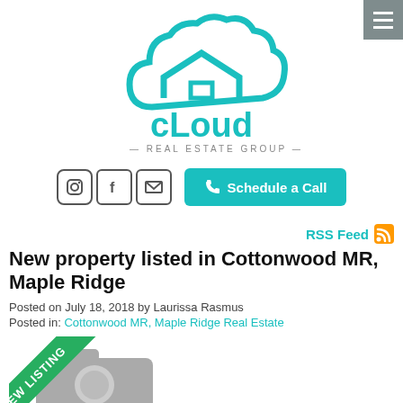Cloud Real Estate Group
[Figure (logo): Cloud Real Estate Group logo: teal cloud shape with a house roofline inside, text 'cLoud' in teal and 'REAL ESTATE GROUP' below]
[Figure (infographic): Social media icons (Instagram, Facebook, Email) and a teal 'Schedule a Call' button with phone icon]
RSS Feed
New property listed in Cottonwood MR, Maple Ridge
Posted on July 18, 2018 by Laurissa Rasmus
Posted in: Cottonwood MR, Maple Ridge Real Estate
[Figure (photo): New listing badge (green diagonal ribbon with 'NEW LISTING' text) overlaying a camera placeholder image]